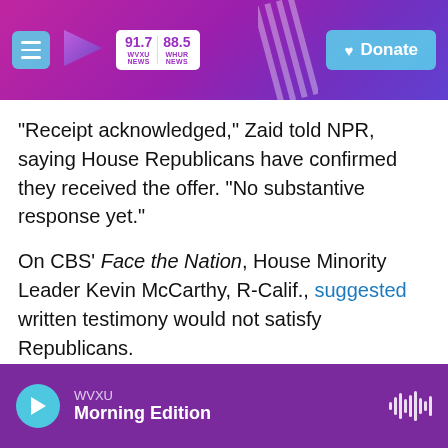WVXU News 91.7 / WHUR News 88.5 — Donate
"Receipt acknowledged," Zaid told NPR, saying House Republicans have confirmed they received the offer. "No substantive response yet."
On CBS' Face the Nation, House Minority Leader Kevin McCarthy, R-Calif., suggested written testimony would not satisfy Republicans.
"When you're talking about the removal of the president of the United States, undoing democracy, undoing what the American public had voted for, I think that individual should come before the committee," said McCarthy. "He needs to answer
WVXU — Morning Edition